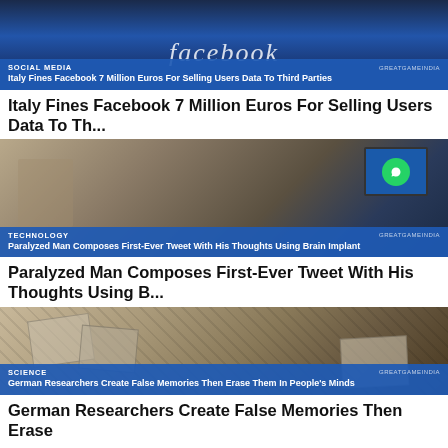[Figure (photo): Facebook logo on dark blue background]
SOCIAL MEDIA | GREATGAMEINDIA — Italy Fines Facebook 7 Million Euros For Selling Users Data To Third Parties
Italy Fines Facebook 7 Million Euros For Selling Users Data To Th...
[Figure (photo): Elderly bald man with glasses sitting at a desk looking at a monitor showing WhatsApp logo]
TECHNOLOGY | GREATGAMEINDIA — Paralyzed Man Composes First-Ever Tweet With His Thoughts Using Brain Implant
Paralyzed Man Composes First-Ever Tweet With His Thoughts Using B...
[Figure (photo): Hands sorting through old black and white photographs]
SCIENCE | GREATGAMEINDIA — German Researchers Create False Memories Then Erase Them In People's Minds
German Researchers Create False Memories Then Erase